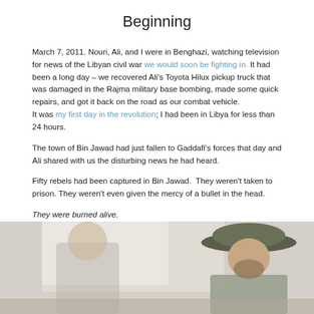Beginning
March 7, 2011. Nouri, Ali, and I were in Benghazi, watching television for news of the Libyan civil war we would soon be fighting in. It had been a long day – we recovered Ali's Toyota Hilux pickup truck that was damaged in the Rajma military base bombing, made some quick repairs, and got it back on the road as our combat vehicle. It was my first day in the revolution; I had been in Libya for less than 24 hours.
The town of Bin Jawad had just fallen to Gaddafi's forces that day and Ali shared with us the disturbing news he had heard.
Fifty rebels had been captured in Bin Jawad.  They weren't taken to prison. They weren't even given the mercy of a bullet in the head.
They were burned alive.
[Figure (photo): Photograph showing two people, one wearing a military/tactical hat, in what appears to be an indoor setting with light-colored walls.]